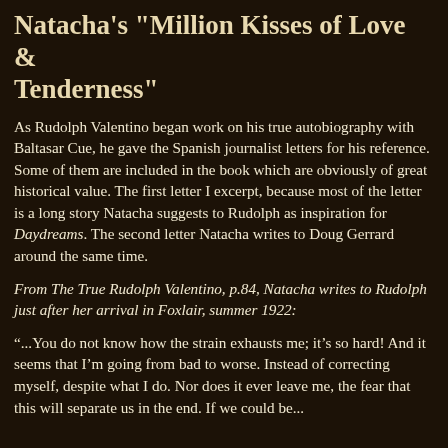Natacha's "Million Kisses of Love & Tenderness"
As Rudolph Valentino began work on his true autobiography with Baltasar Cue, he gave the Spanish journalist letters for his reference. Some of them are included in the book which are obviously of great historical value. The first letter I excerpt, because most of the letter is a long story Natacha suggests to Rudolph as inspiration for Daydreams. The second letter Natacha writes to Doug Gerrard around the same time.
From The True Rudolph Valentino, p.84, Natacha writes to Rudolph just after her arrival in Foxlair, summer 1922:
“...You do not know how the strain exhausts me; it’s so hard! And it seems that I’m going from bad to worse. Instead of correcting myself, despite what I do. Nor does it ever leave me, the fear that this will separate us in the end. If we could be...